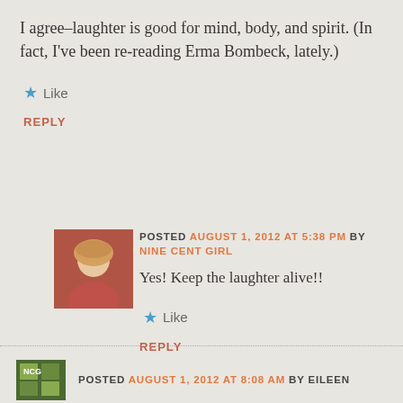I agree–laughter is good for mind, body, and spirit. (In fact, I've been re-reading Erma Bombeck, lately.)
★ Like
REPLY
[Figure (photo): Small avatar photo of a blonde woman in a red top]
POSTED AUGUST 1, 2012 AT 5:38 PM BY NINE CENT GIRL
Yes! Keep the laughter alive!!
★ Like
REPLY
[Figure (photo): Small avatar/logo image in green tones]
POSTED AUGUST 1, 2012 AT 8:08 AM BY EILEEN